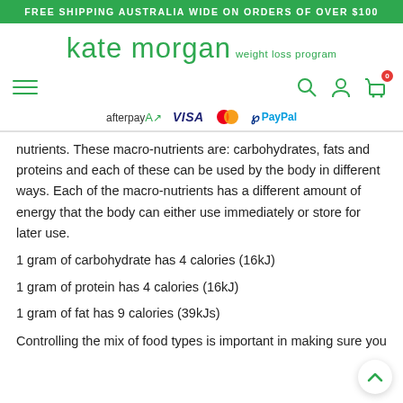FREE SHIPPING AUSTRALIA WIDE ON ORDERS OF OVER $100
[Figure (logo): Kate Morgan weight loss program logo in green]
[Figure (infographic): Navigation bar with hamburger menu, search, user, and cart icons. Payment logos: Afterpay, VISA, Mastercard, PayPal.]
nutrients. These macro-nutrients are: carbohydrates, fats and proteins and each of these can be used by the body in different ways. Each of the macro-nutrients has a different amount of energy that the body can either use immediately or store for later use.
1 gram of carbohydrate has 4 calories (16kJ)
1 gram of protein has 4 calories (16kJ)
1 gram of fat has 9 calories (39kJs)
Controlling the mix of food types is important in making sure you